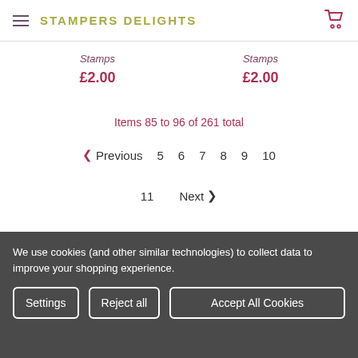STAMPERS DELIGHTS
Stamps  £2.00
Stamps  £2.00
Items 85 to 96 of 261 total
< Previous  5  6  7  8  9  10
11  Next >
We use cookies (and other similar technologies) to collect data to improve your shopping experience.
Settings  Reject all  Accept All Cookies